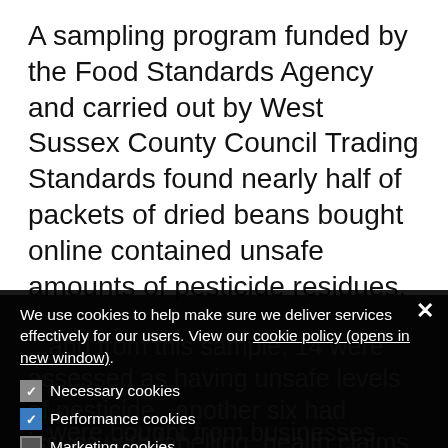A sampling program funded by the Food Standards Agency and carried out by West Sussex County Council Trading Standards found nearly half of packets of dried beans bought online contained unsafe amounts of pesticide residues.
We use cookies to help make sure we deliver services effectively for our users. View our cookie policy (opens in new window).
Necessary cookies
Performance cookies
Marketing cookies
OK (button)
...and from this sample, 14 were assessed as having unsafe levels of pesticide...another six had issues with labelling, health claims and in one case claiming to be 'organic' when the product was not.
...were bought from businesses directly online and via online marketplace sites.